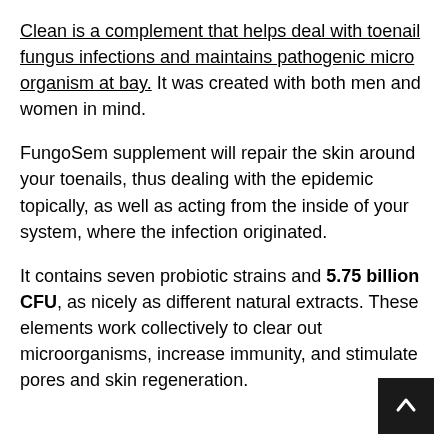Clean is a complement that helps deal with toenail fungus infections and maintains pathogenic micro organism at bay. It was created with both men and women in mind.
FungoSem supplement will repair the skin around your toenails, thus dealing with the epidemic topically, as well as acting from the inside of your system, where the infection originated.
It contains seven probiotic strains and 5.75 billion CFU, as nicely as different natural extracts. These elements work collectively to clear out microorganisms, increase immunity, and stimulate pores and skin regeneration.